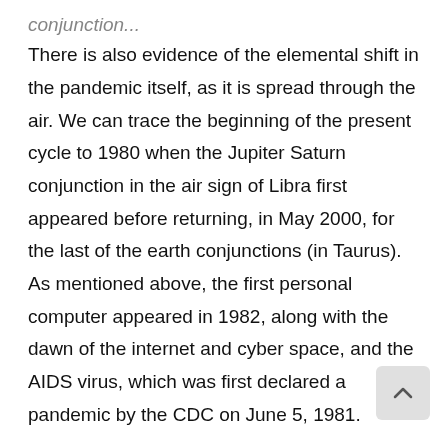conjunction...
There is also evidence of the elemental shift in the pandemic itself, as it is spread through the air. We can trace the beginning of the present cycle to 1980 when the Jupiter Saturn conjunction in the air sign of Libra first appeared before returning, in May 2000, for the last of the earth conjunctions (in Taurus). As mentioned above, the first personal computer appeared in 1982, along with the dawn of the internet and cyber space, and the AIDS virus, which was first declared a pandemic by the CDC on June 5, 1981.
The last series of Jupiter-Saturn conjunctions in air signs was during the High Middle Ages (1186 — 1405). I s parallel from then to our current digital and social-distancing age. At that time countless monks in their